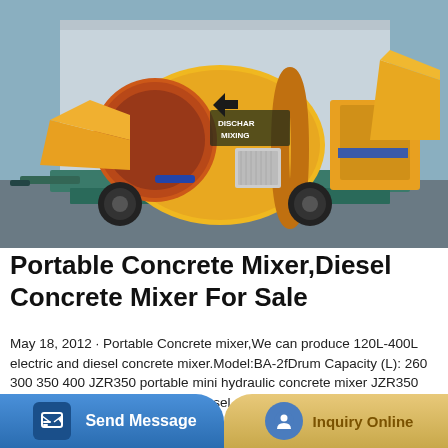[Figure (photo): Yellow portable diesel concrete mixer machine on a trailer with large rotating drum labeled DISCHAR MIXING, mounted on a teal steel frame with wheels, parked outdoors near a building.]
Portable Concrete Mixer,Diesel Concrete Mixer For Sale
May 18, 2012 · Portable Concrete mixer,We can produce 120L-400L electric and diesel concrete mixer.Model:BA-2fDrum Capacity (L): 260 300 350 400 JZR350 portable mini hydraulic concrete mixer JZR350 diesel engine concrete mixer . Diesel engine concrete mixer serve the purpose of mixing